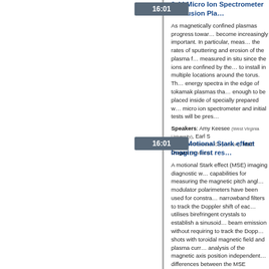8.44 Micro Ion Spectrometer for Fusion Pla…
As magnetically confined plasmas progress towar… become increasingly important. In particular, meas… the rates of sputtering and erosion of the plasma f… measured in situ since the ions are confined by the… to install in multiple locations around the torus. Th… energy spectra in the edge of tokamak plasmas tha… enough to be placed inside of specially prepared w… micro ion spectrometer and initial tests will be pres…
Speakers: Amy Keesee (West Virginia University), Earl S… (Advanced Research Corporation), Matt Dugas (Advanced…
8.45 Motional Stark effect Imaging first res…
A motional Stark effect (MSE) imaging diagnostic w… capabilities for measuring the magnetic pitch angl… modulator polarimeters have been used for constra… narrowband filters to track the Doppler shift of eac… utilises birefringent crystals to establish a sinusoid… beam emission without requiring to track the Dopp… shots with toroidal magnetic field and plasma curr… analysis of the magnetic axis position independent… differences between the MSE measurements. *Wor…
Speakers: Alex Thorman (Australian National University)…